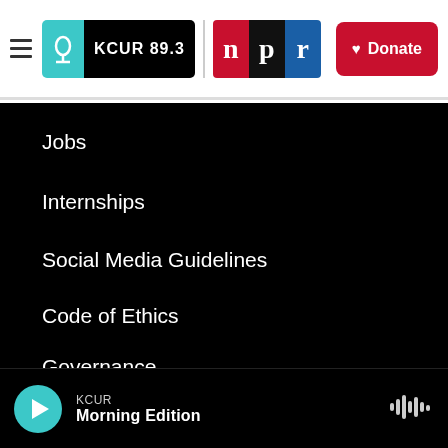[Figure (logo): KCUR 89.3 and NPR logos with hamburger menu and Donate button in white header bar]
Jobs
Internships
Social Media Guidelines
Code of Ethics
Governance
Public File
Privacy Policy
KCUR Morning Edition (player bar)